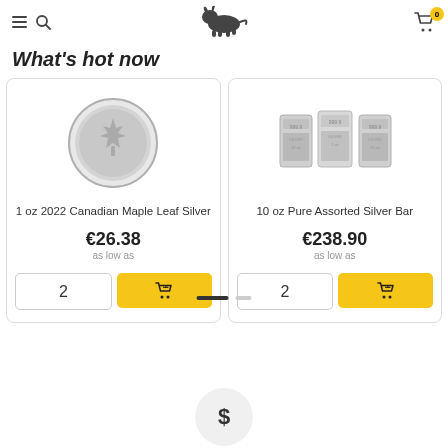Navigation header with hamburger menu, search icon, bull logo, and cart with badge 0
What's hot now
[Figure (photo): 1 oz silver Canadian Maple Leaf coin, showing maple leaf engraving]
1 oz 2022 Canadian Maple Leaf Silver
€26.38 as low as
[Figure (photo): 10 oz pure assorted silver bars, three bars shown side by side]
10 oz Pure Assorted Silver Bar
€238.90 as low as
[Figure (other): Dollar sign icon in a circular grey button at the bottom of the page]